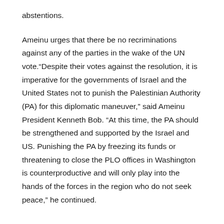abstentions.
Ameinu urges that there be no recriminations against any of the parties in the wake of the UN vote.“Despite their votes against the resolution, it is imperative for the governments of Israel and the United States not to punish the Palestinian Authority (PA) for this diplomatic maneuver,” said Ameinu President Kenneth Bob. “At this time, the PA should be strengthened and supported by the Israel and US. Punishing the PA by freezing its funds or threatening to close the PLO offices in Washington is counterproductive and will only play into the hands of the forces in the region who do not seek peace,” he continued.